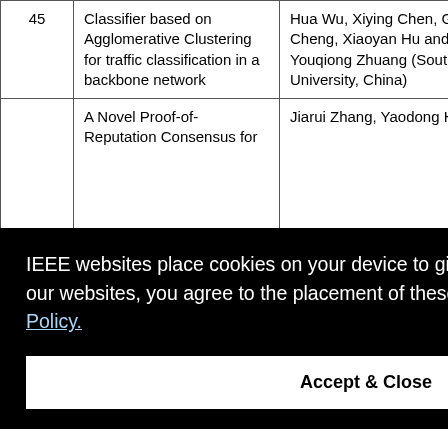| # | Title | Authors |
| --- | --- | --- |
| 45 | Classifier based on Agglomerative Clustering for traffic classification in a backbone network | Hua Wu, Xiying Chen, Guang Cheng, Xiaoyan Hu and Youqiong Zhuang (Southeast University, China) |
|  | A Novel Proof-of-Reputation Consensus for... | Jiarui Zhang, Yaodong Huang, ...(USA) |
|  | ...and |  |
|  | Load Balancing in |  |
IEEE websites place cookies on your device to give you the best user experience. By using our websites, you agree to the placement of these cookies. To learn more, read our Privacy Policy.
Accept & Close